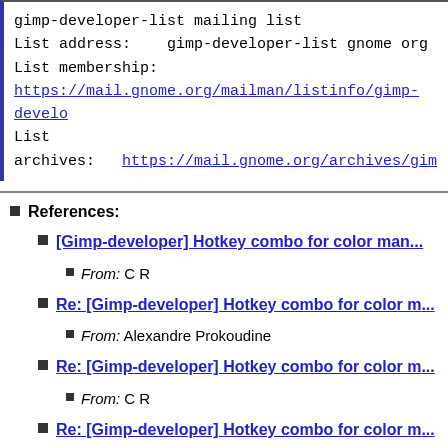gimp-developer-list mailing list
List address:    gimp-developer-list gnome org
List membership:
https://mail.gnome.org/mailman/listinfo/gimp-develo...
List archives:   https://mail.gnome.org/archives/gi...
References:
[Gimp-developer] Hotkey combo for color man...
From: C R
Re: [Gimp-developer] Hotkey combo for color m...
From: Alexandre Prokoudine
Re: [Gimp-developer] Hotkey combo for color m...
From: C R
Re: [Gimp-developer] Hotkey combo for color m...
From: Alexandre Prokoudine